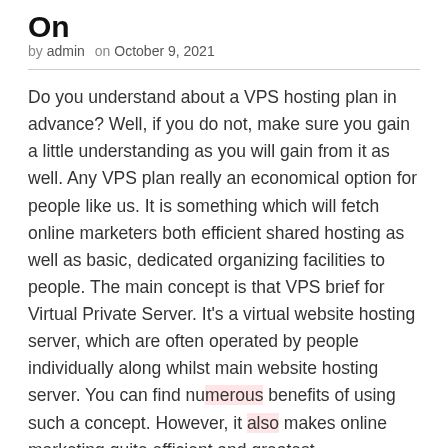On
by admin   on October 9, 2021
Do you understand about a VPS hosting plan in advance? Well, if you do not, make sure you gain a little understanding as you will gain from it as well. Any VPS plan really an economical option for people like us. It is something which will fetch online marketers both efficient shared hosting as well as basic, dedicated organizing facilities to people. The main concept is that VPS brief for Virtual Private Server. It’s a virtual website hosting server, which are often operated by people individually along whilst main website hosting server. You can find numerous benefits of using such a concept. However, it also makes online marketing quite efficient and greatest